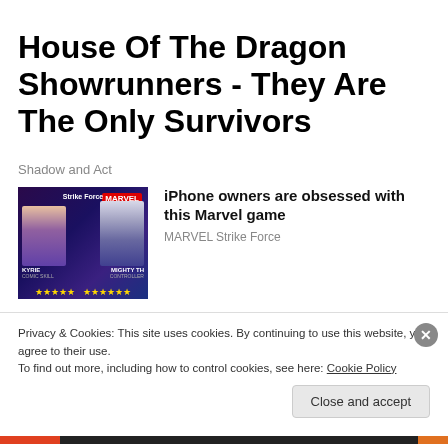House Of The Dragon Showrunners - They Are The Only Survivors
Shadow and Act
[Figure (photo): Marvel Strike Force game promotional image showing two characters: Kyrie and Mighty Thor with star ratings]
iPhone owners are obsessed with this Marvel game
MARVEL Strike Force
[Figure (photo): Kaiser Permanente photo showing three smiling restaurant/hospitality workers in uniform]
kaiser permanente Crew Member Jobs in Ashburn Apply Now
Privacy & Cookies: This site uses cookies. By continuing to use this website, you agree to their use.
To find out more, including how to control cookies, see here: Cookie Policy
Close and accept